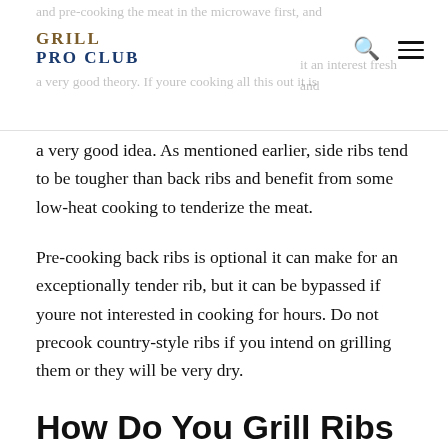GRILL PRO CLUB
a very good idea. As mentioned earlier, side ribs tend to be tougher than back ribs and benefit from some low-heat cooking to tenderize the meat.
Pre-cooking back ribs is optional it can make for an exceptionally tender rib, but it can be bypassed if youre not interested in cooking for hours. Do not precook country-style ribs if you intend on grilling them or they will be very dry.
How Do You Grill Ribs On A Propane Grill In Foil